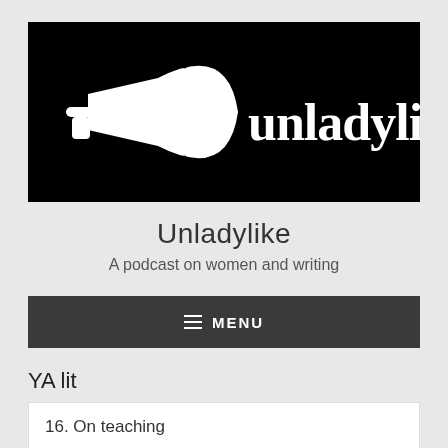[Figure (logo): Unladylike! logo — black background with white megaphone/bullhorn on the left and white stylized text 'unladylike!' on the right]
Unladylike
A podcast on women and writing
≡ MENU
YA lit
16. On teaching